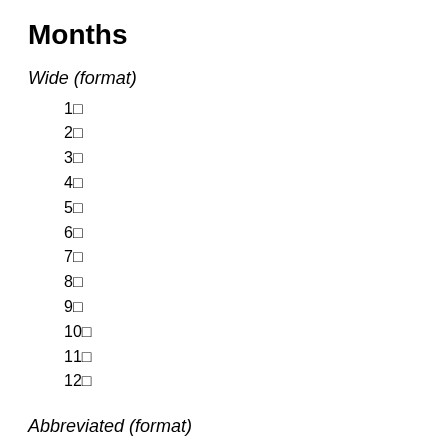Months
Wide (format)
1□
2□
3□
4□
5□
6□
7□
8□
9□
10□
11□
12□
Abbreviated (format)
1□
2□
3□
4□